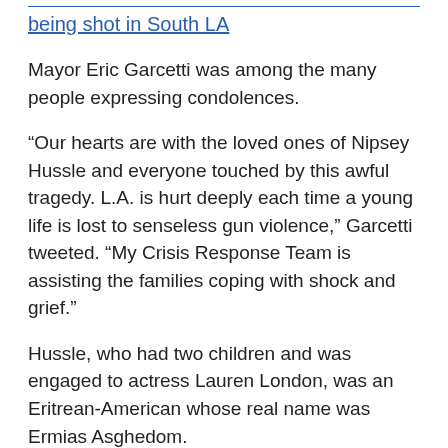being shot in South LA
Mayor Eric Garcetti was among the many people expressing condolences.
“Our hearts are with the loved ones of Nipsey Hussle and everyone touched by this awful tragedy. L.A. is hurt deeply each time a young life is lost to senseless gun violence,” Garcetti tweeted. “My Crisis Response Team is assisting the families coping with shock and grief.”
Hussle, who had two children and was engaged to actress Lauren London, was an Eritrean-American whose real name was Ermias Asghedom.
“This doesn’t make any sense! My spirit is shaken by this!,” Rihanna wrote while posting photos of Hussle with his daughter and another with his fiance. “Dear